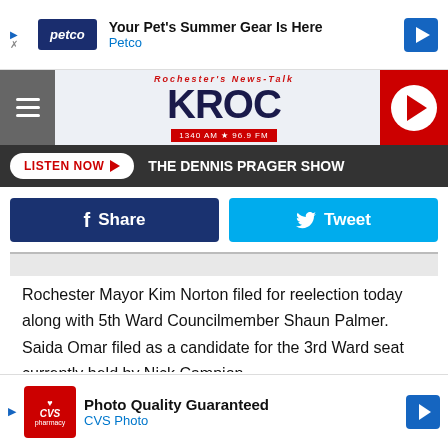[Figure (screenshot): Petco ad banner: 'Your Pet's Summer Gear Is Here - Petco' with blue arrow icon]
[Figure (logo): KROC Rochester News-Talk radio logo, 1340 AM 96.9 FM, with red play button on right and hamburger menu on left]
LISTEN NOW ▶  THE DENNIS PRAGER SHOW
[Figure (screenshot): Facebook Share button (dark blue) and Twitter Tweet button (cyan blue)]
Rochester Mayor Kim Norton filed for reelection today along with 5th Ward Councilmember Shaun Palmer. Saida Omar filed as a candidate for the 3rd Ward seat currently held by Nick Campion.

Three incumbents on the Rochester School Board also filed today a Moha
[Figure (screenshot): CVS Photo ad banner: 'Photo Quality Guaranteed - CVS Photo' with blue arrow icon]